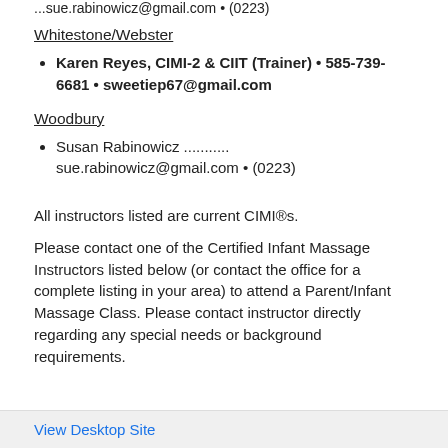... sue.rabinowicz@gmail.com • (0223)
Whitestone/Webster
Karen Reyes, CIMI-2 & CIIT (Trainer) • 585-739-6681 • sweetiep67@gmail.com
Woodbury
Susan Rabinowicz ........... sue.rabinowicz@gmail.com • (0223)
All instructors listed are current CIMI®s.
Please contact one of the Certified Infant Massage Instructors listed below (or contact the office for a complete listing in your area) to attend a Parent/Infant Massage Class. Please contact instructor directly regarding any special needs or background requirements.
View Desktop Site